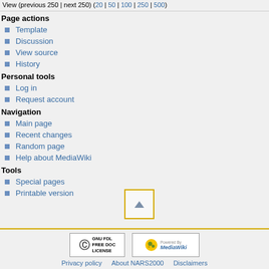View (previous 250 | next 250) (20 | 50 | 100 | 250 | 500)
Page actions
Template
Discussion
View source
History
Personal tools
Log in
Request account
Navigation
Main page
Recent changes
Random page
Help about MediaWiki
Tools
Special pages
Printable version
Privacy policy   About NARS2000   Disclaimers